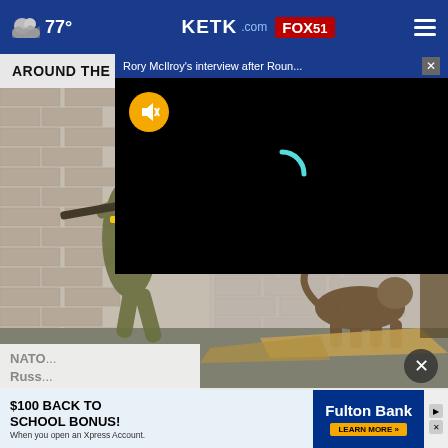77° KETK.com FOX51
AROUND THE WEB
[Figure (screenshot): Video overlay panel with title 'Rory McIlroy's interview after Roun...' on dark background with mute button and loading spinner]
[Figure (photo): Ukrainian soldier in camouflage gear holding a rifle against a brick wall, with a German shepherd dog near debris in the background]
NATO... Russ...
[Figure (other): Advertisement: $100 BACK TO SCHOOL BONUS! When you open an Xpress Account. Fulton Bank. LEARN MORE.]